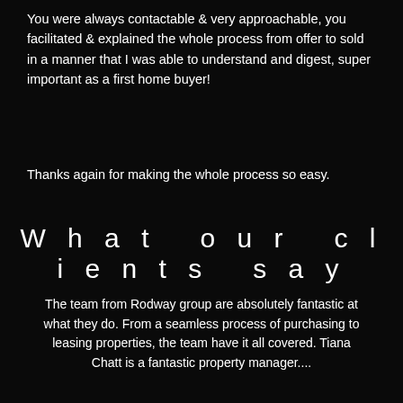You were always contactable & very approachable, you facilitated & explained the whole process from offer to sold in a manner that I was able to understand and digest, super important as a first home buyer!
Thanks again for making the whole process so easy.
What our clients say
The team from Rodway group are absolutely fantastic at what they do. From a seamless process of purchasing to leasing properties, the team have it all covered. Tiana Chatt is a fantastic property manager....